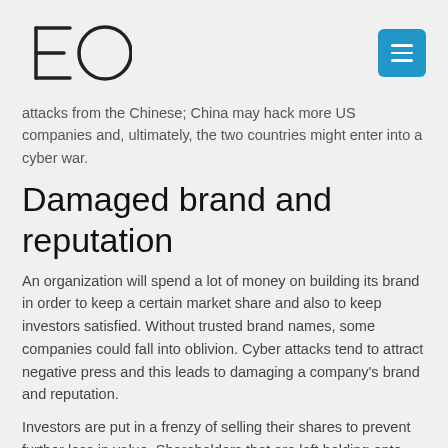[Figure (logo): EO logo with stylized letters E and O]
attacks from the Chinese; China may hack more US companies and, ultimately, the two countries might enter into a cyber war.
Damaged brand and reputation
An organization will spend a lot of money on building its brand in order to keep a certain market share and also to keep investors satisfied. Without trusted brand names, some companies could fall into oblivion. Cyber attacks tend to attract negative press and this leads to damaging a company's brand and reputation.
Investors are put in a frenzy of selling their shares to prevent further loss in value. Shareholders that are left holding onto their shares are unsure whether they will ever recover the money trapped in their shares. Consequently, customers stop trusting the